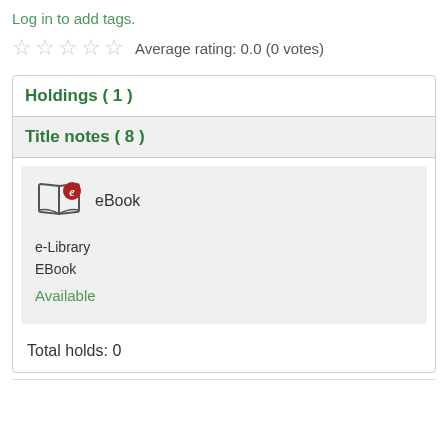Log in to add tags.
Average rating: 0.0 (0 votes)
Holdings ( 1 )
Title notes ( 8 )
[Figure (illustration): eBook icon: open book with red circle 'e' badge]
eBook
e-Library
EBook
Available
Total holds: 0